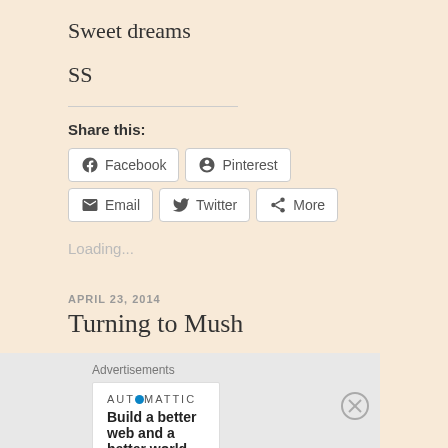Sweet dreams
SS
Share this:
Facebook  Pinterest  Email  Twitter  More
Loading...
APRIL 23, 2014
Turning to Mush
Advertisements
AUTOMATTIC
Build a better web and a better world.